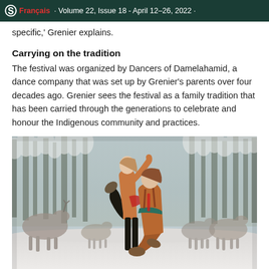Français · Volume 22, Issue 18 - April 12–26, 2022 ·
specific,' Grenier explains.
Carrying on the tradition
The festival was organized by Dancers of Damelahamid, a dance company that was set up by Grenier's parents over four decades ago. Grenier sees the festival as a family tradition that has been carried through the generations to celebrate and honour the Indigenous community and practices.
[Figure (photo): Two female dancers wearing traditional brown Indigenous-style costumes perform outdoors in a snowy winter landscape with reindeer and snow-covered trees in the background.]